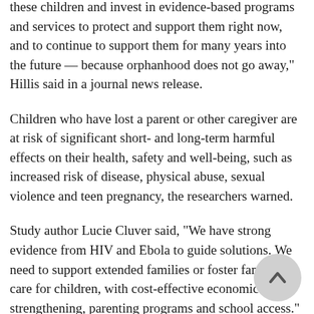these children and invest in evidence-based programs and services to protect and support them right now, and to continue to support them for many years into the future — because orphanhood does not go away," Hillis said in a journal news release.
Children who have lost a parent or other caregiver are at risk of significant short- and long-term harmful effects on their health, safety and well-being, such as increased risk of disease, physical abuse, sexual violence and teen pregnancy, the researchers warned.
Study author Lucie Cluver said, "We have strong evidence from HIV and Ebola to guide solutions. We need to support extended families or foster families to care for children, with cost-effective economic strengthening, parenting programs and school access." Cluver is a professor at Oxford University in the United Kingdom, and the University of Cape Town in South Africa.
"We need to vaccinate caregivers of children — especially grandparent caregivers. And we need to